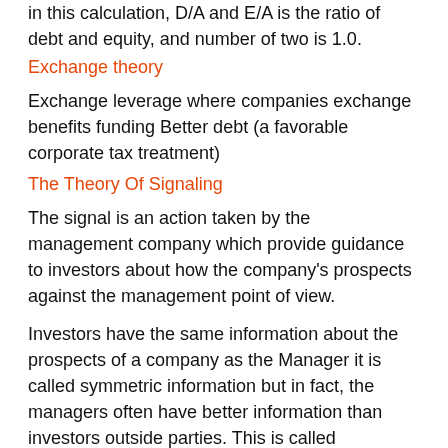in this calculation, D/A and E/A is the ratio of debt and equity, and number of two is 1.0.
Exchange theory
Exchange leverage where companies exchange benefits funding Better debt (a favorable corporate tax treatment)
The Theory Of Signaling
The signal is an action taken by the management company which provide guidance to investors about how the company's prospects against the management point of view.
Investors have the same information about the prospects of a company as the Manager it is called symmetric information but in fact, the managers often have better information than investors outside parties. This is called asymmetric information, but has influence on the optimal capital structure.
Using the Debt Funding to limit the Manager
Had stated that the problem can occur if the dignity managers and shareholders have different goals. Conflicts